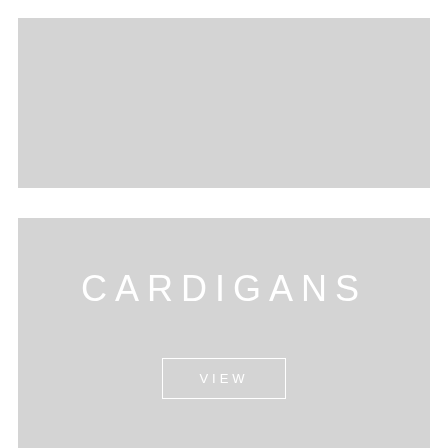[Figure (photo): Top placeholder image, light gray rectangle]
[Figure (photo): Bottom large placeholder image, light gray rectangle with centered text 'CARDIGANS' and a bordered 'VIEW' button]
CARDIGANS
VIEW